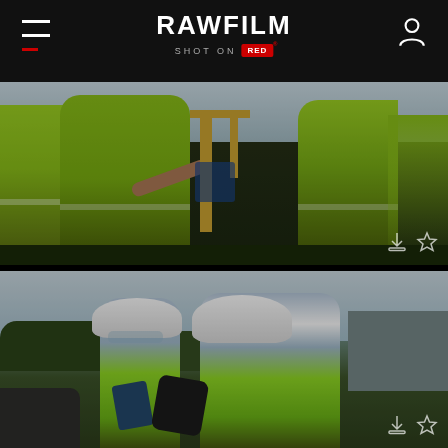RAWFILM · SHOT ON RED
[Figure (photo): Construction workers in yellow/green high-visibility vests photographed from behind, with industrial crane equipment visible in the background. Shot at a port or construction site on a bright day.]
[Figure (photo): Two male construction workers in white hard hats and yellow/green high-visibility vests, looking upward at something off-camera. One holds a tablet device and what appears to be a camera or measuring tool. Outdoor industrial/construction site setting.]